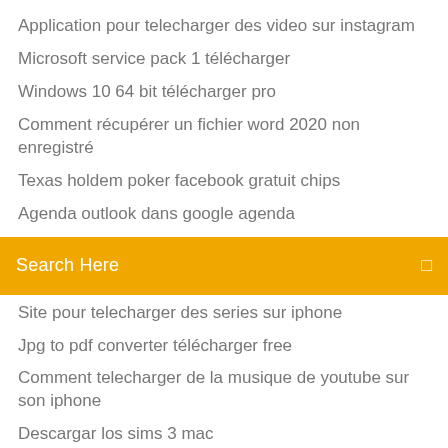Application pour telecharger des video sur instagram
Microsoft service pack 1 télécharger
Windows 10 64 bit télécharger pro
Comment récupérer un fichier word 2020 non enregistré
Texas holdem poker facebook gratuit chips
Agenda outlook dans google agenda
Search Here
Site pour telecharger des series sur iphone
Jpg to pdf converter télécharger free
Comment telecharger de la musique de youtube sur son iphone
Descargar los sims 3 mac
Convertir wma en mp3 gratuit en ligne
Windows 10 64 bit télécharger pro
Plugin manager notepad++ 7
Minecraft gratuit francais android
Codec k lite windows 10
Euro truck simulator 2 mods gratuit télécharger pc